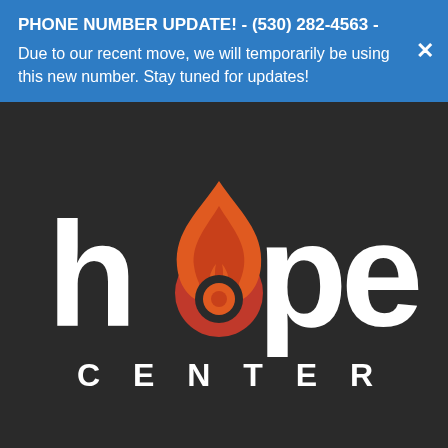PHONE NUMBER UPDATE! - (530) 282-4563 - Due to our recent move, we will temporarily be using this new number. Stay tuned for updates!
[Figure (logo): Hope Center logo on dark background: white stylized text 'hope' with a flame (orange/red) replacing the letter 'o', and 'CENTER' in white spaced caps below]
Copyright © 2022 The Oroville Hope Center.